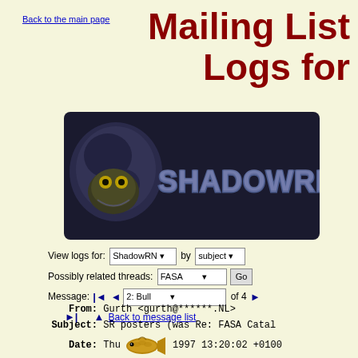Back to the main page
Mailing List Logs for
[Figure (logo): ShadowRN logo with snake/dragon imagery and stylized text reading SHADOWRN]
View logs for: ShadowRN by subject
Possibly related threads: FASA  Go
Message: |◄ ◄ 2: Bull of 4 ►|
▲ Back to message list
From: Gurth <gurth@******.NL>
Subject: SR posters (was Re: FASA Catal
Date: Thu Jan 1997 13:20:02 +0100
Loki said on 21:07/ 1 Jan 97...